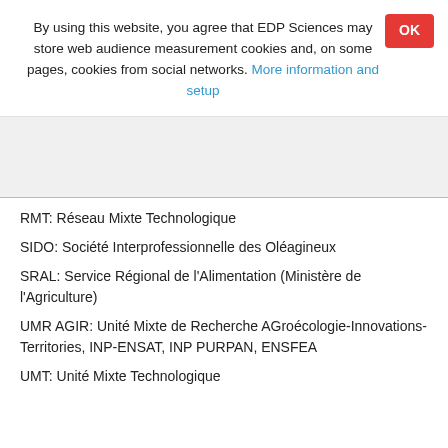By using this website, you agree that EDP Sciences may store web audience measurement cookies and, on some pages, cookies from social networks. More information and setup
RMT: Réseau Mixte Technologique
SIDO: Société Interprofessionnelle des Oléagineux
SRAL: Service Régional de l'Alimentation (Ministère de l'Agriculture)
UMR AGIR: Unité Mixte de Recherche AGroécologie-Innovations-Territories, INP-ENSAT, INP PURPAN, ENSFEA
UMT: Unité Mixte Technologique